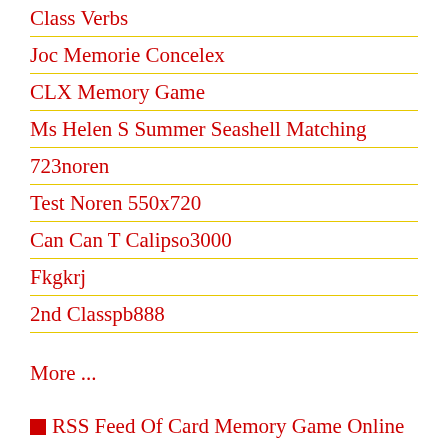Class Verbs
Joc Memorie Concelex
CLX Memory Game
Ms Helen S Summer Seashell Matching
723noren
Test Noren 550x720
Can Can T Calipso3000
Fkgkrj
2nd Classpb888
More ...
RSS Feed Of Card Memory Game Online